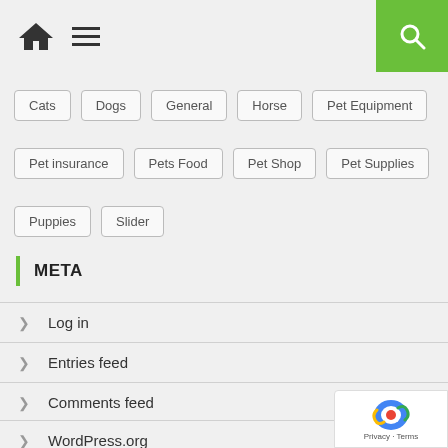Navigation header with home icon, menu icon, and search button
Cats
Dogs
General
Horse
Pet Equipment
Pet insurance
Pets Food
Pet Shop
Pet Supplies
Puppies
Slider
META
Log in
Entries feed
Comments feed
WordPress.org